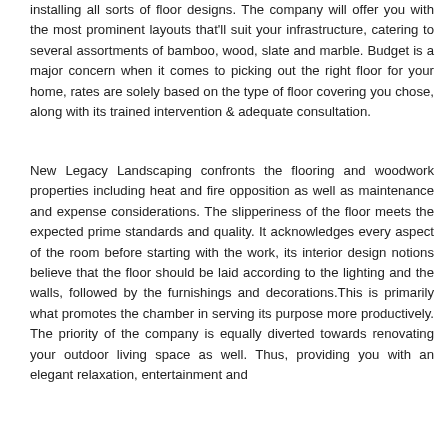installing all sorts of floor designs. The company will offer you with the most prominent layouts that'll suit your infrastructure, catering to several assortments of bamboo, wood, slate and marble. Budget is a major concern when it comes to picking out the right floor for your home, rates are solely based on the type of floor covering you chose, along with its trained intervention & adequate consultation.
New Legacy Landscaping confronts the flooring and woodwork properties including heat and fire opposition as well as maintenance and expense considerations. The slipperiness of the floor meets the expected prime standards and quality. It acknowledges every aspect of the room before starting with the work, its interior design notions believe that the floor should be laid according to the lighting and the walls, followed by the furnishings and decorations.This is primarily what promotes the chamber in serving its purpose more productively. The priority of the company is equally diverted towards renovating your outdoor living space as well. Thus, providing you with an elegant relaxation, entertainment and